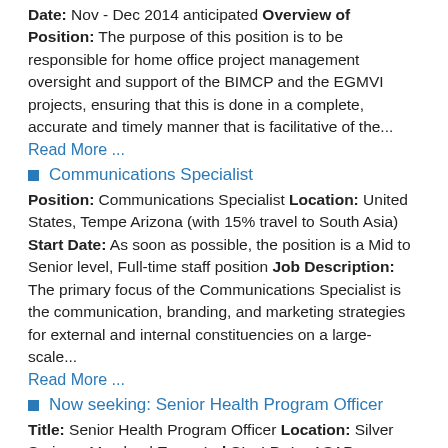Date: Nov - Dec 2014 anticipated Overview of Position: The purpose of this position is to be responsible for home office project management oversight and support of the BIMCP and the EGMVI projects, ensuring that this is done in a complete, accurate and timely manner that is facilitative of the...
Read More ...
Communications Specialist
Position: Communications Specialist Location: United States, Tempe Arizona (with 15% travel to South Asia) Start Date: As soon as possible, the position is a Mid to Senior level, Full-time staff position Job Description: The primary focus of the Communications Specialist is the communication, branding, and marketing strategies for external and internal constituencies on a large-scale...
Read More ...
Now seeking: Senior Health Program Officer
Title: Senior Health Program Officer Location: Silver Springs, Maryland Expected Start Date: ASAP Overview